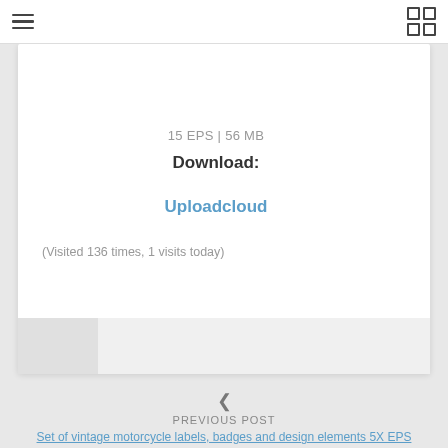menu | grid icons
15 EPS | 56 MB
Download:
Uploadcloud
(Visited 136 times, 1 visits today)
< PREVIOUS POST
Set of vintage motorcycle labels, badges and design elements 5X EPS